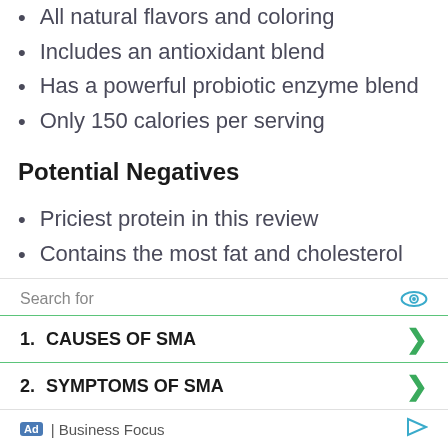All natural flavors and coloring
Includes an antioxidant blend
Has a powerful probiotic enzyme blend
Only 150 calories per serving
Potential Negatives
Priciest protein in this review
Contains the most fat and cholesterol
Search for
1. CAUSES OF SMA
2. SYMPTOMS OF SMA
Ad | Business Focus